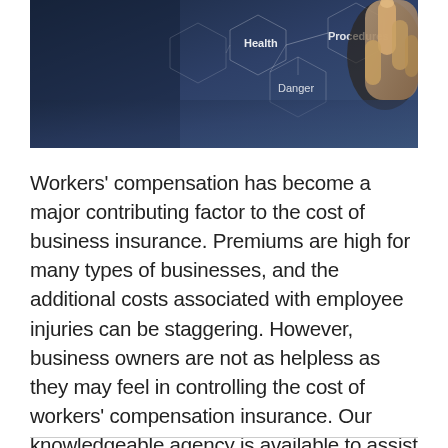[Figure (photo): A dark blue-toned photo of a person's hand touching a digital interface with hexagonal nodes labeled 'Health', 'Procedures', and 'Danger', suggesting a healthcare or insurance risk concept.]
Workers' compensation has become a major contributing factor to the cost of business insurance. Premiums are high for many types of businesses, and the additional costs associated with employee injuries can be staggering. However, business owners are not as helpless as they may feel in controlling the cost of workers' compensation insurance. Our knowledgeable agency is available to assist with loss control in several different…